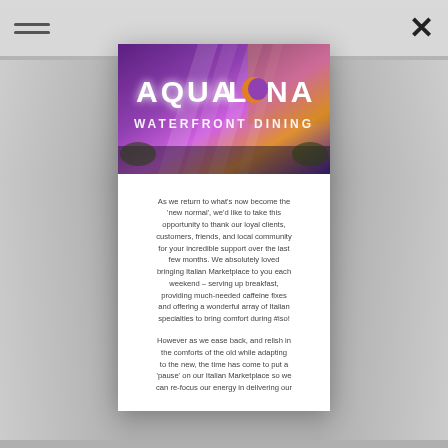[Figure (screenshot): Mobile web browser screenshot showing the Aqua Luna Waterfront Dining restaurant website with a modal dialog open. Background shows a blurred event venue with white chairs and floral arrangements. Top bar has hamburger menu icon on left and X close button on right.]
[Figure (photo): Aqua Luna Waterfront Dining illuminated sign with purple and golden lighting against a dramatic backdrop. Text reads AQUA LUNA WATERFRONT DINING with a crescent moon logo.]
As we return to what's now become the 'new normal', we'd like to take this opportunity to thank our loyal clients, customers, friends, and local community for your incredible support over the last few months. We absolutely loved bringing Italian Marketplace to you each weekend – serving up breakfast, providing much-needed caffeine fixes and offering a wonderful array of Italian specialties to bring comfort during #iso!
However as we ease back, and relish in the comforts of the old while adapting to the new, the time has come to put a 'pause' on our Italian Marketplace so we can re-focus our energy in delivering our